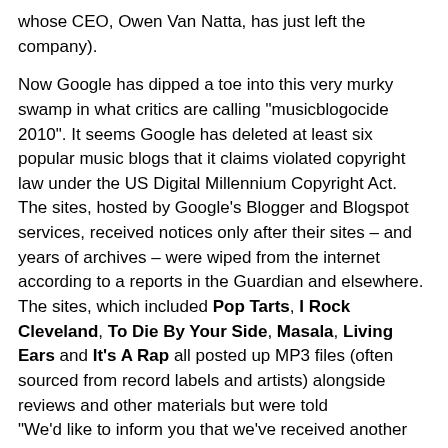whose CEO, Owen Van Natta, has just left the company).
Now Google has dipped a toe into this very murky swamp in what critics are calling "musicblogocide 2010". It seems Google has deleted at least six popular music blogs that it claims violated copyright law under the US Digital Millennium Copyright Act. The sites, hosted by Google's Blogger and Blogspot services, received notices only after their sites – and years of archives – were wiped from the internet according to a reports in the Guardian and elsewhere. The sites, which included Pop Tarts, I Rock Cleveland, To Die By Your Side, Masala, Living Ears and It's A Rap all posted up MP3 files (often sourced from record labels and artists) alongside reviews and other materials but were told
"We'd like to inform you that we've received another complaint regarding your blog ….. Upon review of your account, we've noted that your blog has repeatedly violated Blogger's Terms of Service ... [and] we've been forced to remove your blog. Thank you for your understanding."
Bill Lipold, the owner of I Rock Cleveland, who clearly wasn't